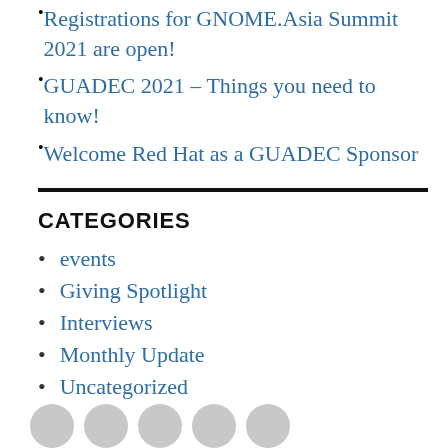Registrations for GNOME.Asia Summit 2021 are open!
GUADEC 2021 – Things you need to know!
Welcome Red Hat as a GUADEC Sponsor
CATEGORIES
events
Giving Spotlight
Interviews
Monthly Update
Uncategorized